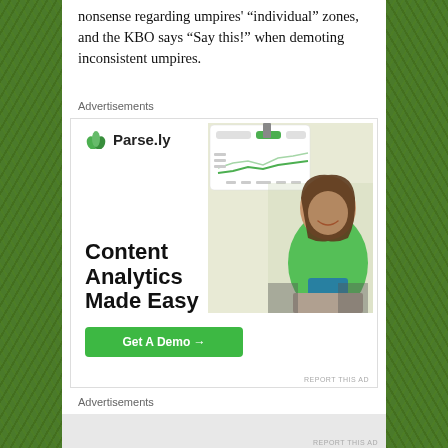nonsense regarding umpires' “individual” zones, and the KBO says “Say this!” when demoting inconsistent umpires.
Advertisements
[Figure (photo): Parse.ly advertisement showing a smiling woman in a green sweater beside a dashboard screenshot. Text reads: Content Analytics Made Easy. Get A Demo →]
Advertisements